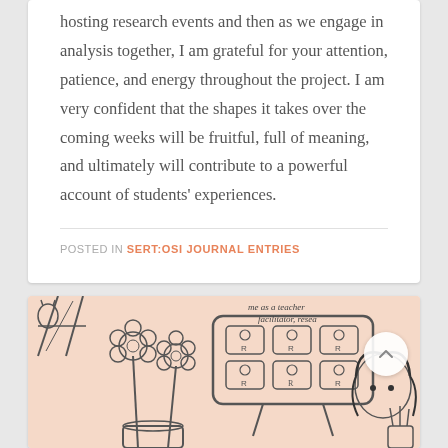hosting research events and then as we engage in analysis together, I am grateful for your attention, patience, and energy throughout the project. I am very confident that the shapes it takes over the coming weeks will be fruitful, full of meaning, and ultimately will contribute to a powerful account of students' experiences.
POSTED IN SERT:OSI JOURNAL ENTRIES
[Figure (illustration): Hand-drawn illustration of a classroom scene showing a teacher/facilitator at the front with a whiteboard displaying student icons, flowers in a vase, and a person with dark hair. Text reads 'me as a teacher facilitator, resea']